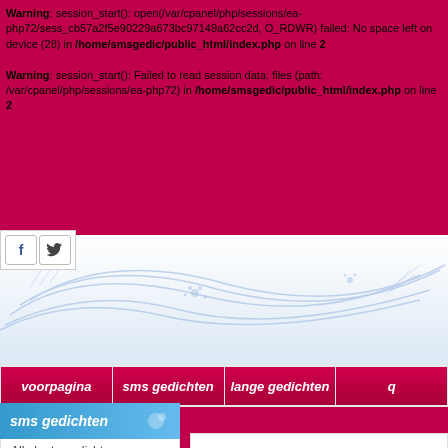Warning: session_start(): open(/var/cpanel/php/sessions/ea-php72/sess_cb57a2f5e90229a673bc97149a62cc2d, O_RDWR) failed: No space left on device (28) in /home/smsgedic/public_html/index.php on line 2
Warning: session_start(): Failed to read session data: files (path: /var/cpanel/php/sessions/ea-php72) in /home/smsgedic/public_html/index.php on line 2
[Figure (screenshot): Social share buttons: Facebook (f) and Twitter (bird icon)]
[Figure (illustration): Decorative banner with blue swirling floral lines on white/light blue gradient background]
voorpagina | sms gedichten | lange gedichten | q...
sms gedichten
home > quotes > engels > scheiding
Alle korte gedichten
Nederlandse gedichten
Engelse gedichten
Gedicht insturen
Gedicht zoeken
Quotes
Mooie Quotes om te plaatsen als Tweet of Facebook. Kijk ook eens op Twotes.nl voor meer inspiratie!